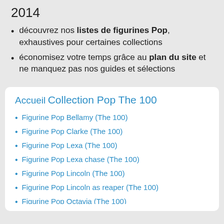2014
découvrez nos listes de figurines Pop, exhaustives pour certaines collections
économisez votre temps grâce au plan du site et ne manquez pas nos guides et sélections
Accueil
Collection Pop The 100
Figurine Pop Bellamy (The 100)
Figurine Pop Clarke (The 100)
Figurine Pop Lexa (The 100)
Figurine Pop Lexa chase (The 100)
Figurine Pop Lincoln (The 100)
Figurine Pop Lincoln as reaper (The 100)
Figurine Pop Octavia (The 100)